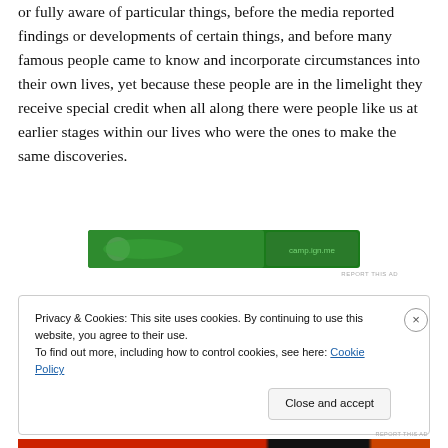or fully aware of particular things, before the media reported findings or developments of certain things, and before many famous people came to know and incorporate circumstances into their own lives, yet because these people are in the limelight they receive special credit when all along there were people like us at earlier stages within our lives who were the ones to make the same discoveries.
[Figure (other): Green advertisement banner]
REPORT THIS AD
Privacy & Cookies: This site uses cookies. By continuing to use this website, you agree to their use.
To find out more, including how to control cookies, see here: Cookie Policy
Close and accept